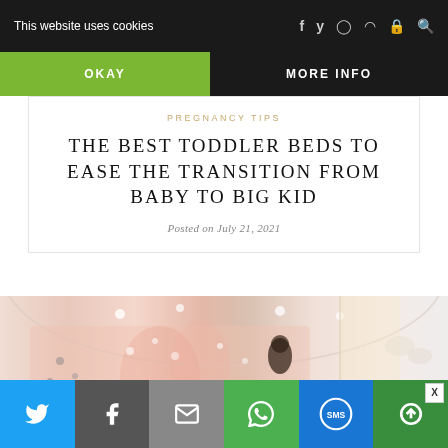This website uses cookies
OKAY
MORE INFO
PREGNANCY TIPS
THE BEST TODDLER BEDS TO EASE THE TRANSITION FROM BABY TO BIG KID
Posted on July 21, 2021
[Figure (photo): A child's bedroom with pink floral fairy wall mural, light curtains, and decorative ceiling lighting]
Social share bar with Twitter, Facebook, Email, WhatsApp, SMS, and More buttons